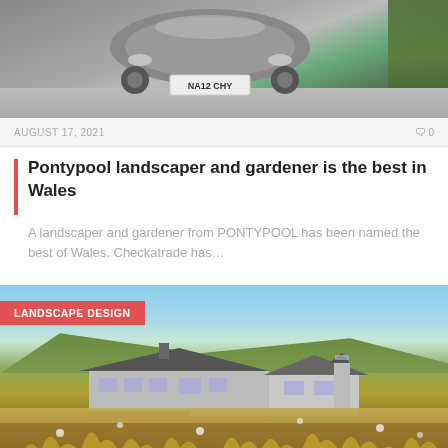[Figure (photo): Top portion of a car photographed from above in a driveway with license plate NA12 CHY, surrounded by greenery]
AUGUST 17, 2021   0
Pontypool landscaper and gardener is the best in Wales
A landscaper and gardener from PONTYPOOL has been named the best of Wales. Checkatrade has…
[Figure (photo): Landscape design photo showing a large house in the background with wildflower meadow and ornamental grasses in the foreground under a blue sky. A red label reads LANDSCAPE DESIGN.]